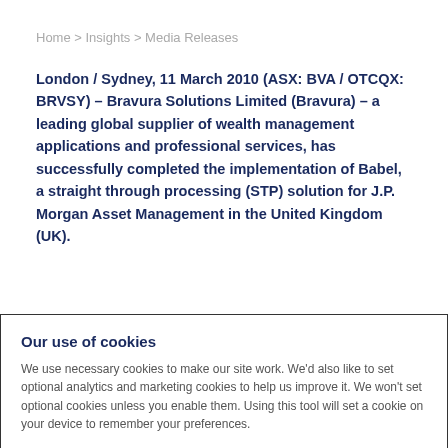Home > Insights > Media Releases
London / Sydney, 11 March 2010 (ASX: BVA / OTCQX: BRVSY) – Bravura Solutions Limited (Bravura) – a leading global supplier of wealth management applications and professional services, has successfully completed the implementation of Babel, a straight through processing (STP) solution for J.P. Morgan Asset Management in the United Kingdom (UK).
J.P. Morgan is a long-term Bravura client, having previously
Our use of cookies
We use necessary cookies to make our site work. We'd also like to set optional analytics and marketing cookies to help us improve it. We won't set optional cookies unless you enable them. Using this tool will set a cookie on your device to remember your preferences.